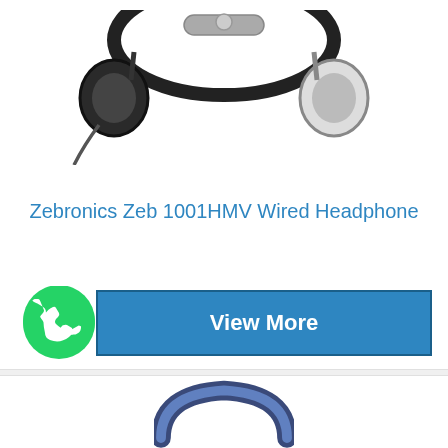[Figure (photo): Zebronics wired headphone product image, partially visible at top of card, showing earphone cups and headband with cable]
Zebronics Zeb 1001HMV Wired Headphone
[Figure (illustration): WhatsApp green logo icon on left side, with a blue 'View More' button to its right]
[Figure (photo): Partial product image of a second headphone (dark/blue colored) at the bottom of the page, showing only the top arc of the headband]